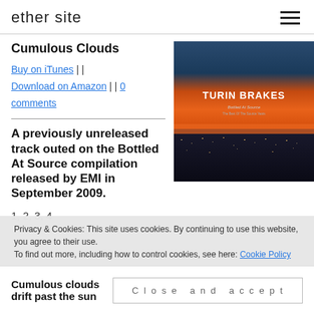ether site
Cumulous Clouds
Buy on iTunes || Download on Amazon || 0 comments
A previously unreleased track outed on the Bottled At Source compilation released by EMI in September 2009.
[Figure (photo): Album cover for Turin Brakes - Bottled At Source, The Best Of The Source Years. Dark cityscape at night with orange/red sunset sky at top.]
1, 2, 3, 4
Privacy & Cookies: This site uses cookies. By continuing to use this website, you agree to their use. To find out more, including how to control cookies, see here: Cookie Policy
Close and accept
Cumulous clouds drift past the sun